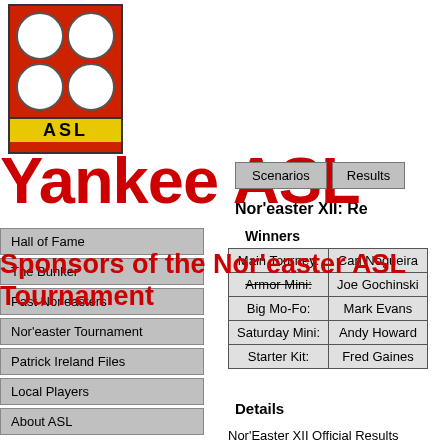[Figure (logo): ASL logo with red background, four circular soldier images, and ASL text in yellow banner at bottom]
Yankee ASL
Sponsors of the Nor'easter ASL Tournament
Scenarios   Results
Nor'easter XII: Re...
Hall of Fame
The Bunker
Past Nor'easters
Nor'easter Tournament
Patrick Ireland Files
Local Players
About ASL
Winners
|  |  |
| --- | --- |
| Main Tourney: | Carl Nogueira |
| Armor Mini: | Joe Gochinski |
| Big Mo-Fo: | Mark Evans |
| Saturday Mini: | Andy Howard |
| Starter Kit: | Fred Gaines |
Details
Nor'Easter XII Official Results